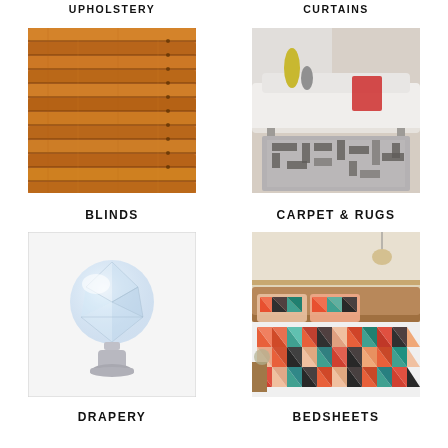[Figure (photo): Wooden orange/brown horizontal blinds close-up]
BLINDS
[Figure (photo): A grey geometric patterned area rug on a tiled floor with a white sofa and colorful vases in the background]
CARPET & RUGS
[Figure (photo): A crystal glass decorative cabinet knob/finial on a silver brushed metal base]
DRAPERY
[Figure (photo): A bed with colorful geometric triangle-patterned bedsheets and pillowcases in orange, red, teal, and white]
BEDSHEETS